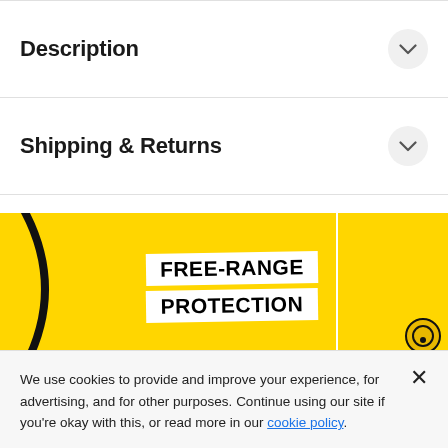Description
Shipping & Returns
[Figure (illustration): Yellow banner with brush-stroke white text reading FREE-RANGE PROTECTION, with a black arc on the left side. Partially visible second yellow banner section on the right with a small circular icon.]
We use cookies to provide and improve your experience, for advertising, and for other purposes. Continue using our site if you're okay with this, or read more in our cookie policy.